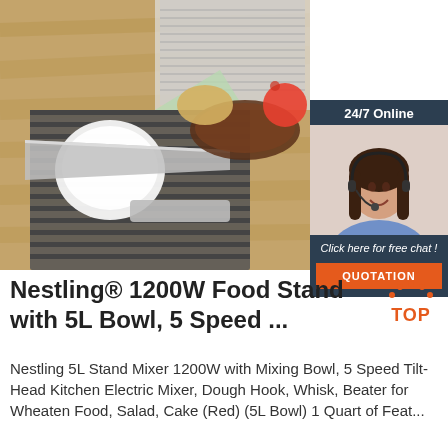[Figure (photo): Kitchen tools and utensils on wooden surface: spoon, knife/grater, vegetables including tomatoes and potatoes, and a dark bowl on a bamboo mat]
[Figure (infographic): 24/7 Online chat widget with dark navy background, showing a woman wearing a headset smiling, text 'Click here for free chat!' and an orange QUOTATION button]
[Figure (logo): TOP badge logo in orange/red with dots arranged in an arc above the word TOP]
Nestling® 1200W Food Stand with 5L Bowl, 5 Speed ...
Nestling 5L Stand Mixer 1200W with Mixing Bowl, 5 Speed Tilt-Head Kitchen Electric Mixer, Dough Hook, Whisk, Beater for Wheaten Food, Salad, Cake (Red) (5L Bowl) 1 Quart of Features...